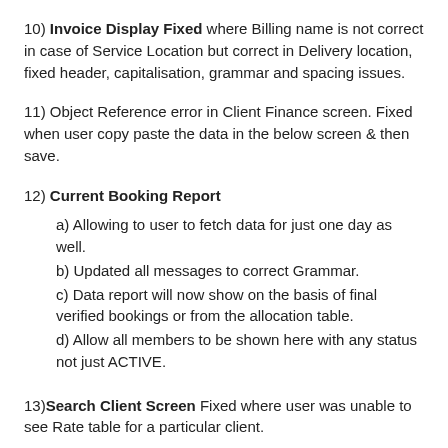10) Invoice Display Fixed where Billing name is not correct in case of Service Location but correct in Delivery location, fixed header, capitalisation, grammar and spacing issues.
11) Object Reference error in Client Finance screen. Fixed when user copy paste the data in the below screen & then save.
12) Current Booking Report
a) Allowing to user to fetch data for just one day as well.
b) Updated all messages to correct Grammar.
c) Data report will now show on the basis of final verified bookings or from the allocation table.
d) Allow all members to be shown here with any status not just ACTIVE.
13) Search Client Screen Fixed where user was unable to see Rate table for a particular client.